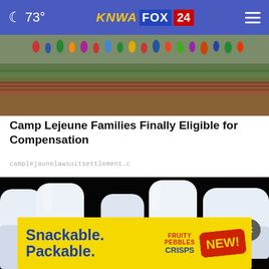🌙 73° | KNWA FOX 24
[Figure (photo): Outdoor scene showing figures/children near a brick wall with greenery in the background]
Camp Lejeune Families Finally Eligible for Compensation
camplejaunelawsuitsettlement.c
[Figure (photo): 3D dental illustration showing teeth with one implant visible, set against a black background. A close button (×) overlays the bottom right. An advertisement banner for 'Snackable. Packable. Fruity Pebbles Crisps NEW!' appears at the bottom.]